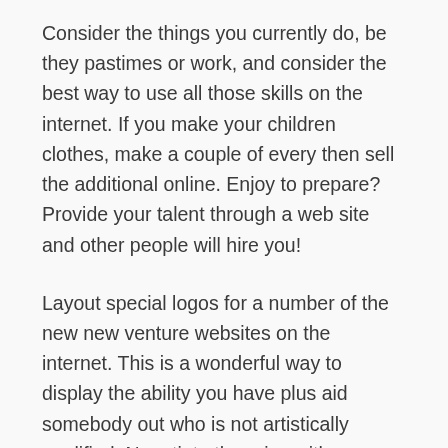Consider the things you currently do, be they pastimes or work, and consider the best way to use all those skills on the internet. If you make your children clothes, make a couple of every then sell the additional online. Enjoy to prepare? Provide your talent through a web site and other people will hire you!
Layout special logos for a number of the new new venture websites on the internet. This is a wonderful way to display the ability you have plus aid somebody out who is not artistically qualified. Negotiate the price with your buyer ahead of time prior to supply your services.
You possibly can make dollars on the internet in the home by performing investigation as an details